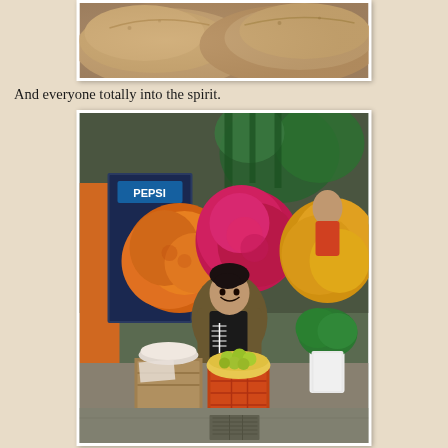[Figure (photo): Close-up photo of bread loaves or similar baked/tan-colored rounded objects with rough texture]
And everyone totally into the spirit.
[Figure (photo): A smiling young woman wearing a skeleton shirt sits at a colorful flower market stall surrounded by large bouquets of orange marigolds, pink and red dahlias, and yellow flowers, with fruits in a basket on a crate in front of her. A Pepsi refrigerator is visible in the background.]